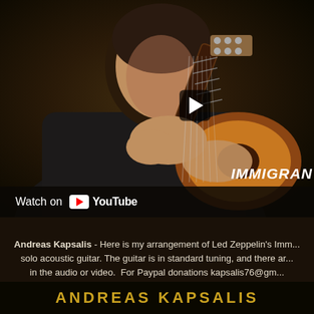[Figure (photo): YouTube video thumbnail showing a man in black shirt playing acoustic guitar, with a dark background. A play button is visible in the center-right area, and the text 'IMMIGRAN' is partially visible on the right side. A 'Watch on YouTube' bar is at the bottom of the video.]
Andreas Kapsalis - Here is my arrangement of Led Zeppelin's Imm... solo acoustic guitar. The guitar is in standard tuning, and there ar... in the audio or video.  For Paypal donations kapsalis76@gm...
ANDREAS KAPSALIS